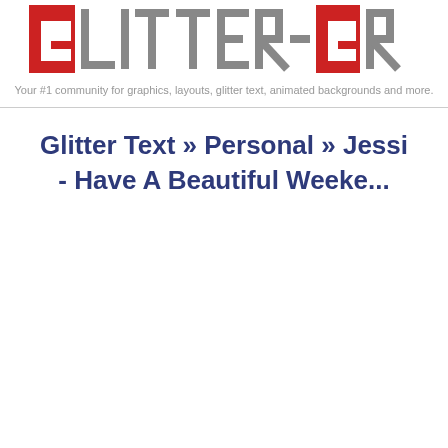[Figure (logo): Glitter-Graphics.com logo with red and gray block letter style on white background]
Your #1 community for graphics, layouts, glitter text, animated backgrounds and more.
Glitter Text » Personal » Jessi - Have A Beautiful Weeke...